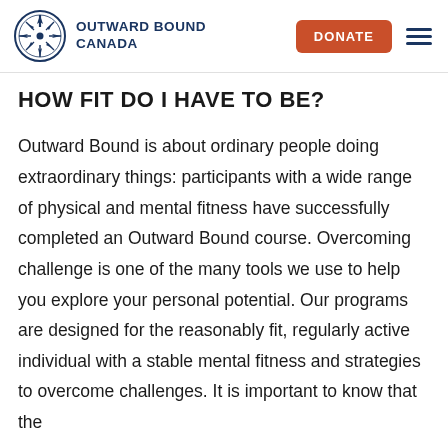OUTWARD BOUND CANADA
HOW FIT DO I HAVE TO BE?
Outward Bound is about ordinary people doing extraordinary things: participants with a wide range of physical and mental fitness have successfully completed an Outward Bound course. Overcoming challenge is one of the many tools we use to help you explore your personal potential. Our programs are designed for the reasonably fit, regularly active individual with a stable mental fitness and strategies to overcome challenges. It is important to know that the